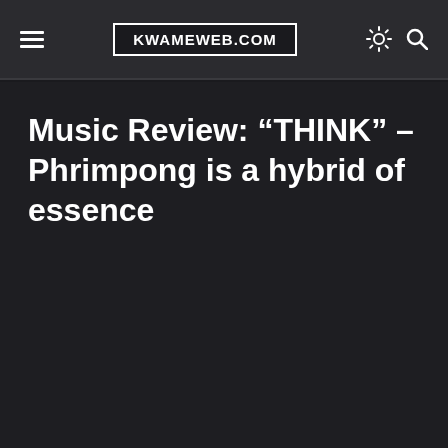KWAMEWEB.COM
Music Review: “THINK” – Phrimpong is a hybrid of essence